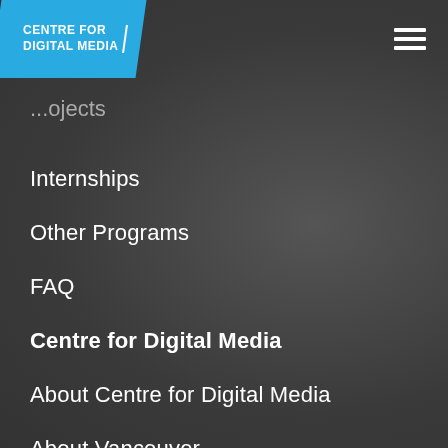[Figure (logo): Centre for Digital Media logo — white text on blue skewed rectangle with vertical divider bar]
...ojects
Internships
Other Programs
FAQ
Centre for Digital Media
About Centre for Digital Media
About Vancouver
Student Apartments
Academic Partners
News